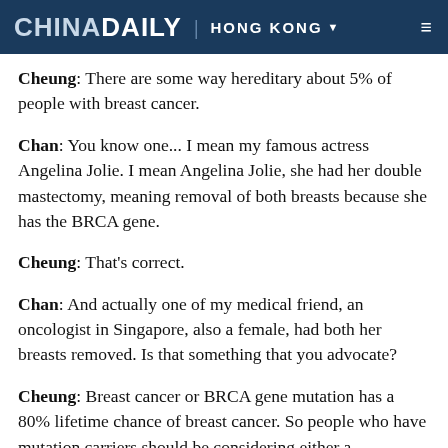CHINA DAILY | HONG KONG
Cheung: There are some way hereditary about 5% of people with breast cancer.
Chan: You know one... I mean my famous actress Angelina Jolie. I mean Angelina Jolie, she had her double mastectomy, meaning removal of both breasts because she has the BRCA gene.
Cheung: That's correct.
Chan: And actually one of my medical friend, an oncologist in Singapore, also a female, had both her breasts removed. Is that something that you advocate?
Cheung: Breast cancer or BRCA gene mutation has a 80% lifetime chance of breast cancer. So people who have mutation carriers should be considering either a